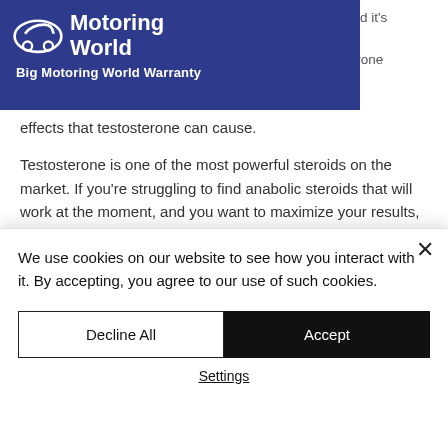[Figure (logo): Big Motoring World logo on dark blue background with car icon and text 'Big Motoring World' and subtitle 'Big Motoring World Warranty']
and it's one terone de effects that testosterone can cause.
Testosterone is one of the most powerful steroids on the market. If you're struggling to find anabolic steroids that will work at the moment, and you want to maximize your results, then testosterone is one of the steroids that you can get the most out of.
We use cookies on our website to see how you interact with it. By accepting, you agree to our use of such cookies.